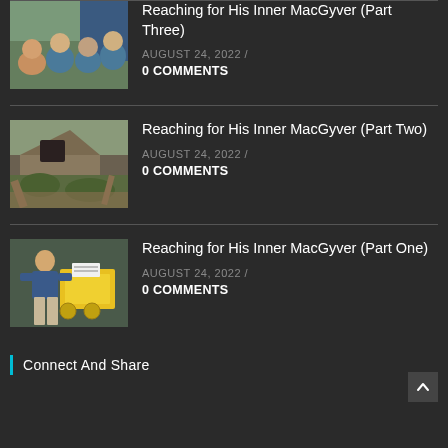[Figure (photo): Group selfie photo of four people outdoors near a vehicle, wearing blue shirts]
Reaching for His Inner MacGyver (Part Three)
AUGUST 24, 2022  /
0 COMMENTS
[Figure (photo): Flood damage photo showing collapsed structure and debris with muddy water]
Reaching for His Inner MacGyver (Part Two)
AUGUST 24, 2022  /
0 COMMENTS
[Figure (photo): Man in blue polo shirt working with yellow equipment/machinery outdoors]
Reaching for His Inner MacGyver (Part One)
AUGUST 24, 2022  /
0 COMMENTS
Connect And Share